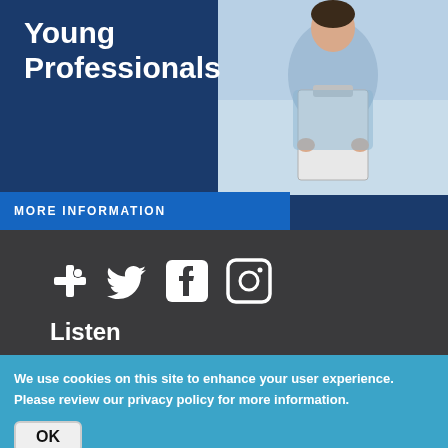[Figure (illustration): Banner advertisement with dark blue background showing text 'Young Professionals' and a photo of a person in light blue clothing holding a clipboard/folder, with a 'MORE INFORMATION' button bar]
[Figure (infographic): Row of four social media icons on dark background: a cross/plus icon, Twitter bird icon, Facebook 'f' icon, and Instagram camera icon]
Listen
Live Audio Stream
Listen to JazzPHX
Listening Options
We use cookies on this site to enhance your user experience. Please review our privacy policy for more information.
OK